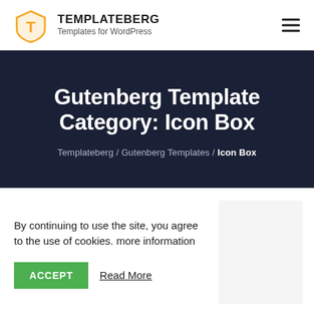TEMPLATEBERG — Templates for WordPress
Gutenberg Template Category: Icon Box
Templateeberg / Gutenberg Templates / Icon Box
By continuing to use the site, you agree to the use of cookies. more information
ACCEPT   Read More